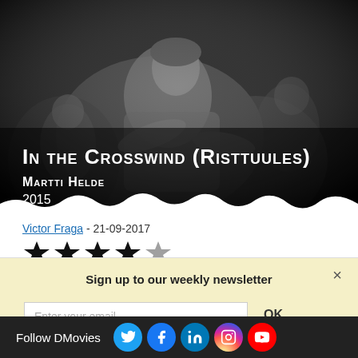[Figure (photo): Black and white film still showing a woman sitting with children, movie poster style image for 'In the Crosswind (Risttuules)' directed by Martti Helde, 2015]
Victor Fraga - 21-09-2017
[Figure (other): Star rating icons (partially visible black stars) for movie rating]
Sign up to our weekly newsletter
Enter your email
OK
Follow DMovies